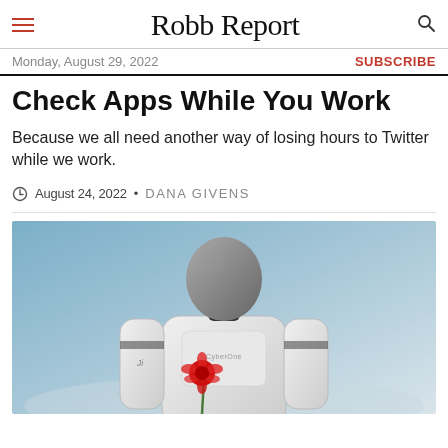Robb Report
Monday, August 29, 2022
SUBSCRIBE
Check Apps While You Work
Because we all need another way of losing hours to Twitter while we work.
August 24, 2022 • DANA GIVENS
[Figure (photo): A white humanoid robot (CyberOne) with a dark helmet-like head holding a red flower, photographed against a light blue-grey gradient background.]